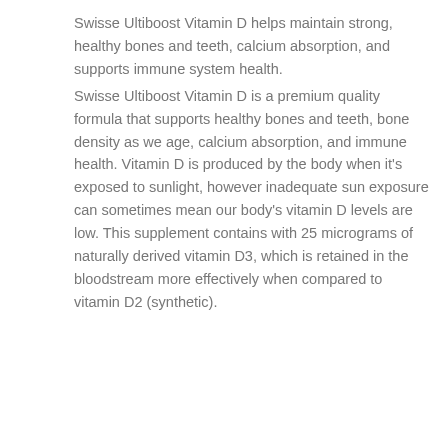Swisse Ultiboost Vitamin D helps maintain strong, healthy bones and teeth, calcium absorption, and supports immune system health.
Swisse Ultiboost Vitamin D is a premium quality formula that supports healthy bones and teeth, bone density as we age, calcium absorption, and immune health. Vitamin D is produced by the body when it's exposed to sunlight, however inadequate sun exposure can sometimes mean our body's vitamin D levels are low. This supplement contains with 25 micrograms of naturally derived vitamin D3, which is retained in the bloodstream more effectively when compared to vitamin D2 (synthetic).
For carts HK$999 and above, get FREE GIFT!
Swisse Ultiboost Vitamin D 90 Capsules
1
HK$275.00
HK$192.00
ADD TO CART